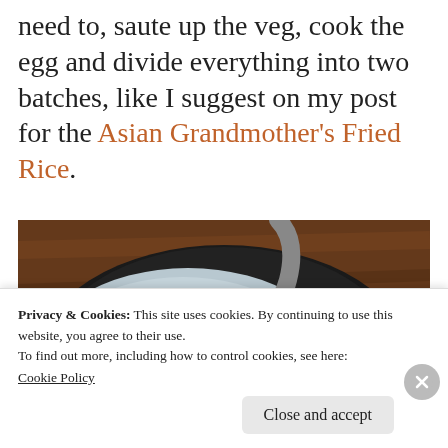need to, saute up the veg, cook the egg and divide everything into two batches, like I suggest on my post for the Asian Grandmother's Fried Rice.
[Figure (photo): A plate of Asian fried rice with colorful vegetables including red peppers and green onions, served in a dark bowl on a wooden table background.]
Privacy & Cookies: This site uses cookies. By continuing to use this website, you agree to their use.
To find out more, including how to control cookies, see here: Cookie Policy